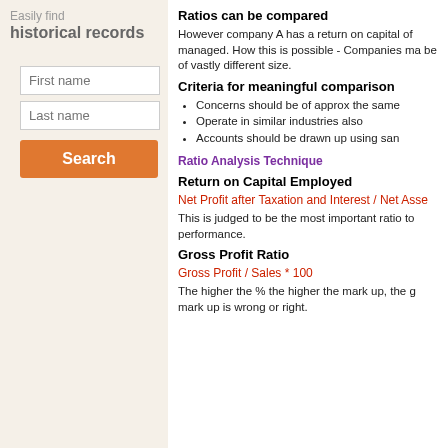Easily find historical records
First name
Last name
Search
Ratios can be compared
However company A has a return on capital of managed. How this is possible - Companies ma be of vastly different size.
Criteria for meaningful comparison
Concerns should be of approx the same
Operate in similar industries also
Accounts should be drawn up using san
Ratio Analysis Technique
Return on Capital Employed
This is judged to be the most important ratio to performance.
Gross Profit Ratio
The higher the % the higher the mark up, the g mark up is wrong or right.